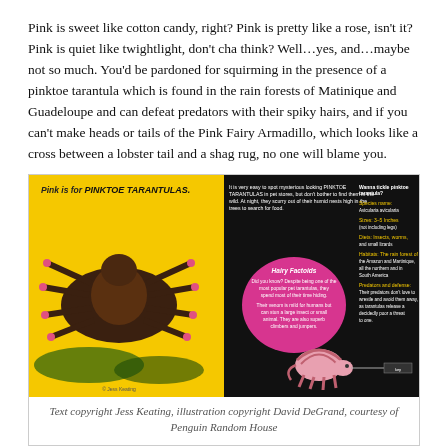Pink is sweet like cotton candy, right? Pink is pretty like a rose, isn't it? Pink is quiet like twightlight, don't cha think? Well…yes, and…maybe not so much. You'd be pardoned for squirming in the presence of a pinktoe tarantula which is found in the rain forests of Matinique and Guadeloupe and can defeat predators with their spiky hairs, and if you can't make heads or tails of the Pink Fairy Armadillo, which looks like a cross between a lobster tail and a shag rug, no one will blame you.
[Figure (illustration): Book spread illustration: left half shows a photograph of a pinktoe tarantula on foliage with yellow background and text 'Pink is for PINKTOE TARANTULAS.'; right half shows a pink cartoon character with text bubbles and fact panels about the tarantula on black background.]
Text copyright Jess Keating, illustration copyright David DeGrand, courtesy of Penguin Random House
But the world is full of pink, and for each of these grimace-inducing bubble-gum-hued creatures there are plenty who